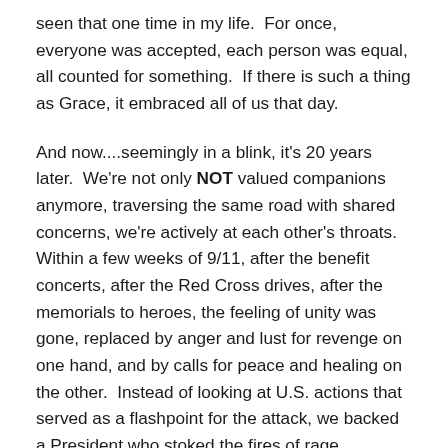seen that one time in my life.  For once, everyone was accepted, each person was equal, all counted for something.  If there is such a thing as Grace, it embraced all of us that day.
And now....seemingly in a blink, it's 20 years later.  We're not only NOT valued companions anymore, traversing the same road with shared concerns, we're actively at each other's throats.  Within a few weeks of 9/11, after the benefit concerts, after the Red Cross drives, after the memorials to heroes, the feeling of unity was gone, replaced by anger and lust for revenge on one hand, and by calls for peace and healing on the other.  Instead of looking at U.S. actions that served as a flashpoint for the attack, we backed a President who stoked the fires of rage, accompanied by a cabal who saw its chance to implement long-plotted schemes of dominance and